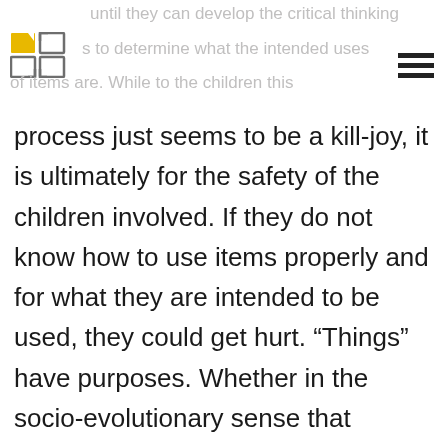until they can develop the critical thinking skills to determine what the intended uses of items are. While to the children this
[Figure (logo): App or website logo icon consisting of four quadrant arrow shapes in gold/yellow and gray]
process just seems to be a kill-joy, it is ultimately for the safety of the children involved. If they do not know how to use items properly and for what they are intended to be used, they could get hurt. “Things” have purposes. Whether in the socio-evolutionary sense that humans have invented tools for specific tasks, or in the metaphysical sense of causation that “things” exist for a defined—and divine—